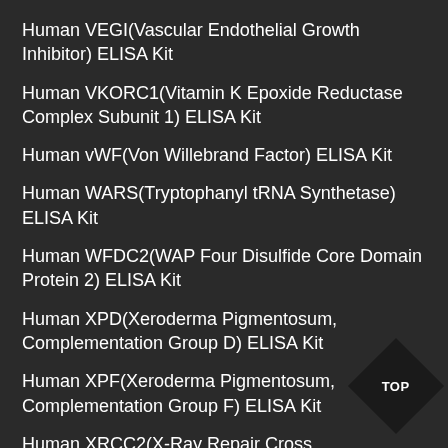Human VEGI(Vascular Endothelial Growth Inhibitor) ELISA Kit
Human VKORC1(Vitamin K Epoxide Reductase Complex Subunit 1) ELISA Kit
Human vWF(Von Willebrand Factor) ELISA Kit
Human WARS(Tryptophanyl tRNA Synthetase) ELISA Kit
Human WFDC2(WAP Four Disulfide Core Domain Protein 2) ELISA Kit
Human XPD(Xeroderma Pigmentosum, Complementation Group D) ELISA Kit
Human XPF(Xeroderma Pigmentosum, Complementation Group F) ELISA Kit
Human XRCC2(X-Ray Repair Cross Complementing 2) ELISA Kit